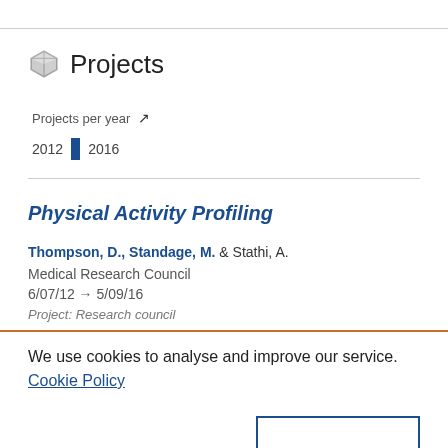Projects
Projects per year
2012 2016
Physical Activity Profiling
Thompson, D., Standage, M. & Stathi, A.
Medical Research Council
6/07/12 → 5/09/16
Project: Research council
We use cookies to analyse and improve our service. Cookie Policy